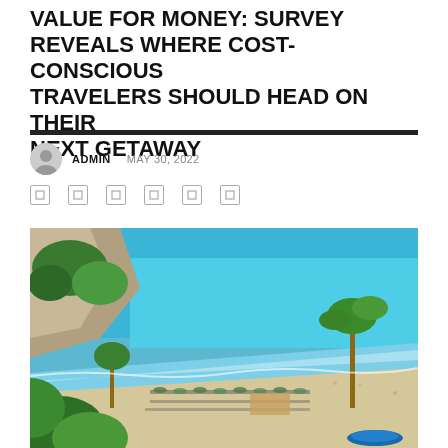VALUE FOR MONEY: SURVEY REVEALS WHERE COST-CONSCIOUS TRAVELERS SHOULD HEAD ON THEIR NEXT GETAWAY
ADMIN  MAY 30, 2022
[Figure (photo): Aerial view of a Mediterranean beach scene with turquoise water, cliffs with green vegetation, palm trees, beach umbrellas and sunbathers on sandy shore]